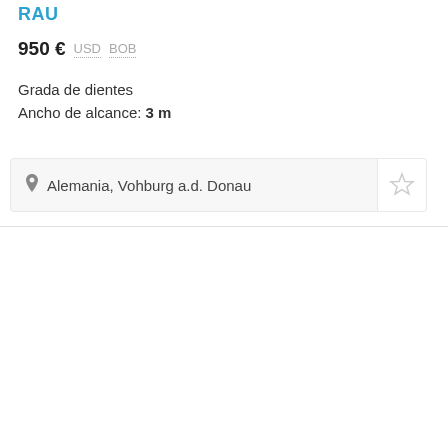RAU
950 € USD BOB
Grada de dientes
Ancho de alcance: 3 m
Alemania, Vohburg a.d. Donau